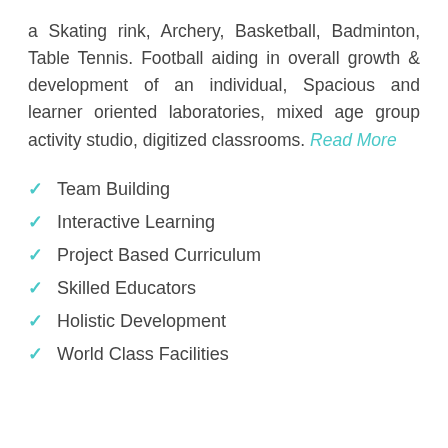a Skating rink, Archery, Basketball, Badminton, Table Tennis. Football aiding in overall growth & development of an individual, Spacious and learner oriented laboratories, mixed age group activity studio, digitized classrooms. Read More
Team Building
Interactive Learning
Project Based Curriculum
Skilled Educators
Holistic Development
World Class Facilities